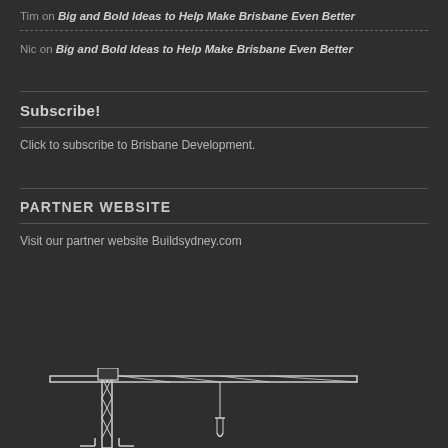Tim on Big and Bold Ideas to Help Make Brisbane Even Better
Nic on Big and Bold Ideas to Help Make Brisbane Even Better
Subscribe!
Click to subscribe to Brisbane Development.
PARTNER WEBSITE
Visit our partner website Buildsydney.com
[Figure (illustration): Line drawing of a construction tower crane in white on dark background]